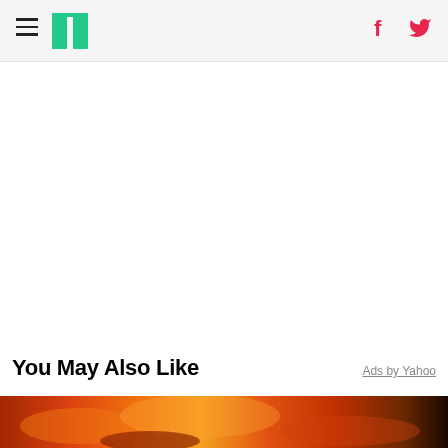HuffPost — navigation header with hamburger menu, logo, Facebook and Twitter icons
[Figure (other): Chevron/caret up arrow symbol indicating collapse or scroll up]
You May Also Like
Ads by Yahoo
[Figure (photo): Bottom strip showing a fiery orange and red image, partially visible]